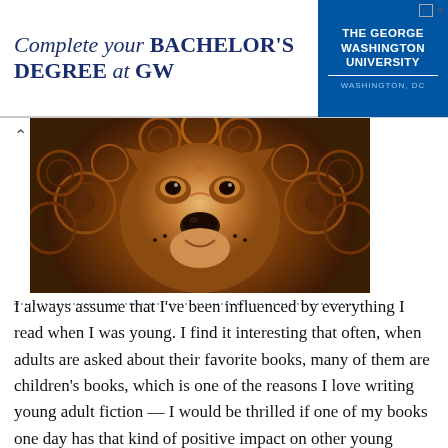[Figure (screenshot): Advertisement banner for The George Washington University: 'Complete your BACHELOR'S DEGREE at GW' with university logo on blue background]
[Figure (illustration): Stylized artistic illustration of a lion's face with swirling decorative patterns in warm golden and orange tones]
I always assume that I've been influenced by everything I read when I was young. I find it interesting that often, when adults are asked about their favorite books, many of them are children's books, which is one of the reasons I love writing young adult fiction — I would be thrilled if one of my books one day has that kind of positive impact on other young readers. In terms of the fiction that I like to read, and write, several of those influences on me are clear. First, as others will likely mention: the Chronicles of